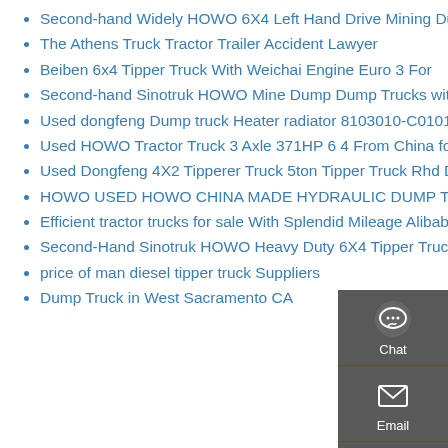Second-hand Widely HOWO 6X4 Left Hand Drive Mining Dump Truck
The Athens Truck Tractor Trailer Accident Lawyer
Beiben 6x4 Tipper Truck With Weichai Engine Euro 3 For
Second-hand Sinotruk HOWO Mine Dump Dump Trucks with Man Technology
Used dongfeng Dump truck Heater radiator 8103010-C0101
Used HOWO Tractor Truck 3 Axle 371HP 6 4 From China for Sale
Used Dongfeng 4X2 Tipperer Truck 5ton Tipper Truck Rhd Dump Truck
HOWO USED HOWO CHINA MADE HYDRAULIC DUMP TRUCK
Efficient tractor trucks for sale With Splendid Mileage Alibaba
Second-Hand Sinotruk HOWO Heavy Duty 6X4 Tipper Truck
price of man diesel tipper truck Suppliers
Dump Truck in West Sacramento CA
[Figure (infographic): Sidebar widget with Chat, Email, Contact, and Top navigation buttons on dark grey background]